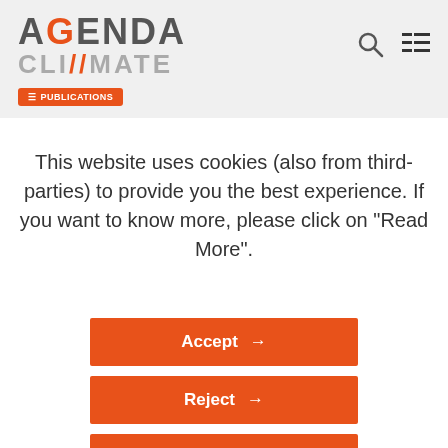AGENDA CLIMATE PUBLICATIONS
This website uses cookies (also from third-parties) to provide you the best experience. If you want to know more, please click on "Read More".
Accept →
Reject →
Read more →